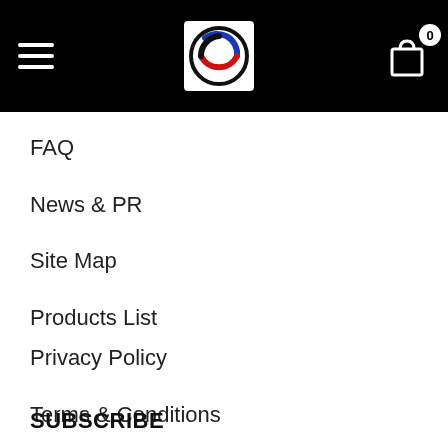Navigation header with hamburger menu, logo, and cart icon (0 items)
FAQ
News & PR
Site Map
Products List
Privacy Policy
Terms & Conditions
SUBSCRIBE